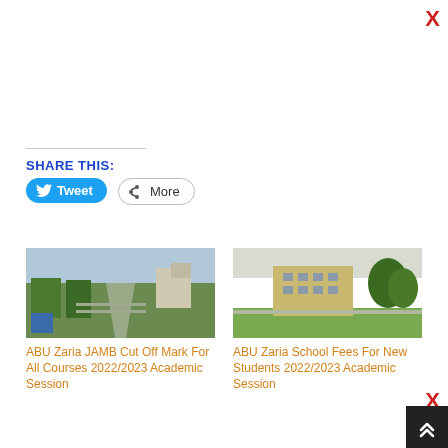X
SHARE THIS:
[Figure (other): Tweet button with Twitter bird icon]
[Figure (other): More share button with share icon]
[Figure (photo): Aerial view of ABU Zaria campus showing roads and buildings]
ABU Zaria JAMB Cut Off Mark For All Courses 2022/2023 Academic Session
[Figure (photo): ABU Zaria campus building with trees]
ABU Zaria School Fees For New Students 2022/2023 Academic Session
X
[Figure (other): Scroll to top button with double chevron up icon]